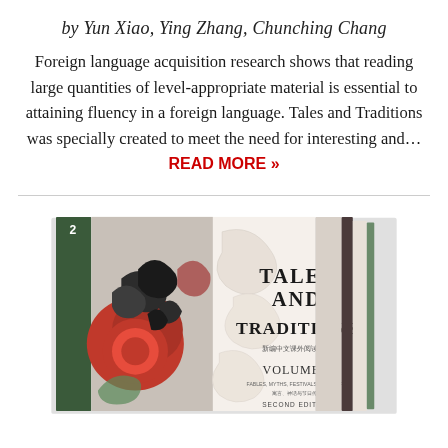by Yun Xiao, Ying Zhang, Chunching Chang
Foreign language acquisition research shows that reading large quantities of level-appropriate material is essential to attaining fluency in a foreign language. Tales and Traditions was specially created to meet the need for interesting and... READ MORE »
[Figure (photo): Book cover image of 'Tales and Traditions Volume 2, Second Edition' showing a decorative red and black Chinese-style illustration on the spine and cover, with the title text on the front cover.]